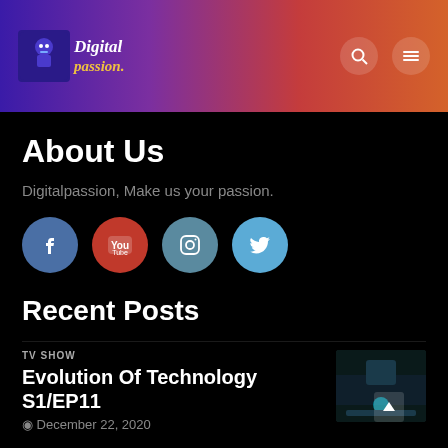Digital Passion
About Us
Digitalpassion, Make us your passion.
[Figure (infographic): Social media icon buttons: Facebook, YouTube, Instagram, Twitter]
Recent Posts
TV SHOW
Evolution Of Technology S1/EP11
December 22, 2020
[Figure (photo): Thumbnail image of a tech-related TV show episode]